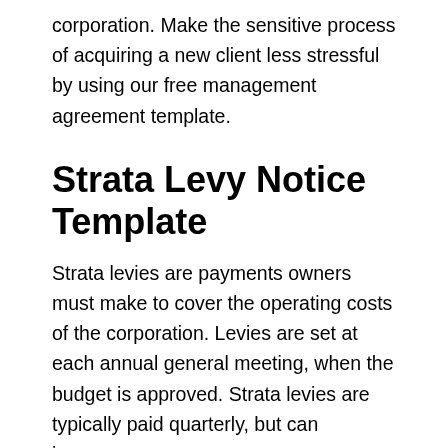corporation. Make the sensitive process of acquiring a new client less stressful by using our free management agreement template.
Strata Levy Notice Template
Strata levies are payments owners must make to cover the operating costs of the corporation. Levies are set at each annual general meeting, when the budget is approved. Strata levies are typically paid quarterly, but can increase